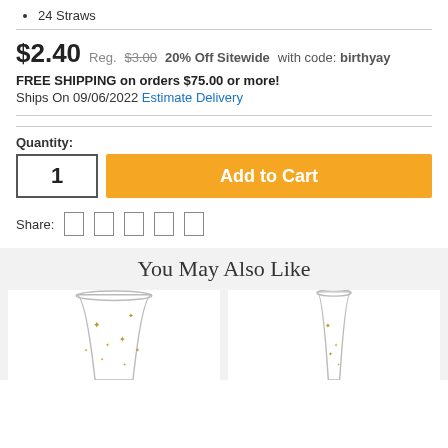24 Straws
$2.40  Reg. $3.00  20% Off Sitewide with code: birthyay
FREE SHIPPING on orders $75.00 or more!
Ships On 09/06/2022 Estimate Delivery
Quantity: 1  Add to Cart
Share:
You May Also Like
[Figure (photo): Two glass cups with gold star decorations on a light gray background]